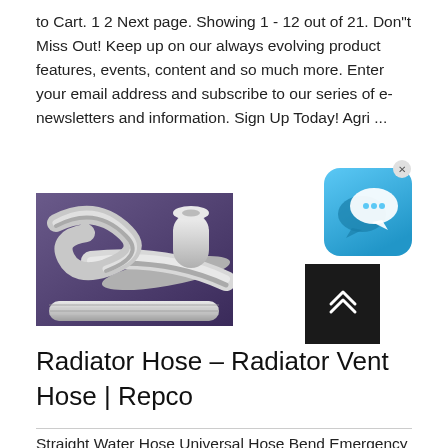to Cart. 1 2 Next page. Showing 1 - 12 out of 21. Don"t Miss Out! Keep up on our always evolving product features, events, content and so much more. Enter your email address and subscribe to our series of e-newsletters and information. Sign Up Today! Agri ...
[Figure (photo): Photo of braided silicone hoses coiled and arranged on a purple background]
[Figure (screenshot): Blue chat/messaging app icon with speech bubble, with an X close button in the top right corner]
[Figure (other): Dark/black scroll-to-top button with double upward chevron arrows]
Radiator Hose - Radiator Vent Hose | Repco
Straight Water Hose Universal Hose Bend Emergency